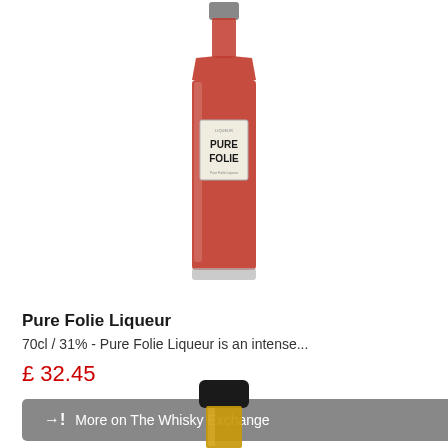[Figure (photo): Red liqueur bottle with label reading PURE FOLIE, square bottle shape with silver cap]
Pure Folie Liqueur
70cl / 31% - Pure Folie Liqueur is an intense...
£ 32.45
→] More on The Whisky Exchange
[Figure (photo): Top portion of a second bottle with black cap and amber/gold liquid visible]